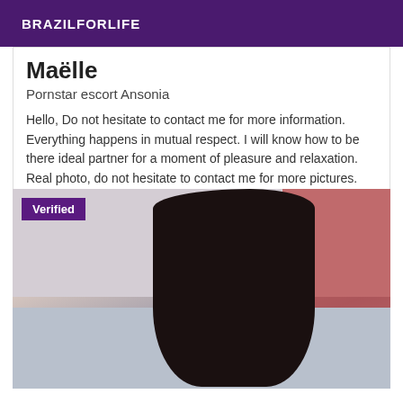BRAZILFORLIFE
Maëlle
Pornstar escort Ansonia
Hello, Do not hesitate to contact me for more information. Everything happens in mutual respect. I will know how to be there ideal partner for a moment of pleasure and relaxation. Real photo, do not hesitate to contact me for more pictures.
[Figure (photo): Person with long dark hair viewed from behind, sitting on a bed in a room with a red curtain. A 'Verified' badge is overlaid in the top-left corner.]